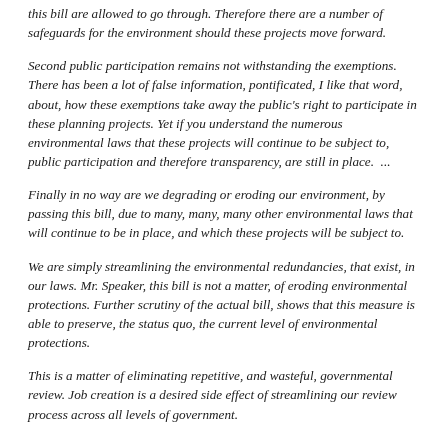this bill are allowed to go through. Therefore there are a number of safeguards for the environment should these projects move forward.
Second public participation remains not withstanding the exemptions. There has been a lot of false information, pontificated, I like that word, about, how these exemptions take away the public's right to participate in these planning projects. Yet if you understand the numerous environmental laws that these projects will continue to be subject to, public participation and therefore transparency, are still in place.  ...
Finally in no way are we degrading or eroding our environment, by passing this bill, due to many, many, many other environmental laws that will continue to be in place, and which these projects will be subject to.
We are simply streamlining the environmental redundancies, that exist, in our laws. Mr. Speaker, this bill is not a matter, of eroding environmental protections. Further scrutiny of the actual bill, shows that this measure is able to preserve, the status quo, the current level of environmental protections.
This is a matter of eliminating repetitive, and wasteful, governmental review. Job creation is a desired side effect of streamlining our review process across all levels of government.